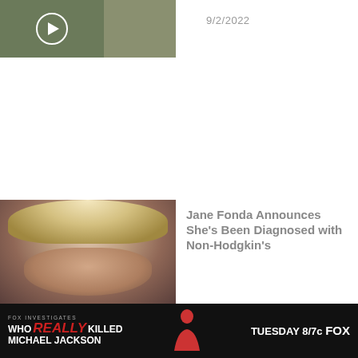[Figure (photo): Two thumbnail images side by side — left one shows a video with a play button overlay on a military/outdoor scene, right one shows a similar outdoor scene]
9/2/2022
[Figure (photo): Photo of Jane Fonda, a blonde woman, partially visible]
Jane Fonda Announces She's Been Diagnosed with Non-Hodgkin's
[Figure (photo): Advertisement banner: FOX Investigates — Who REALLY KILLED MICHAEL JACKSON — TUESDAY 8/7c FOX — with silhouette of person]